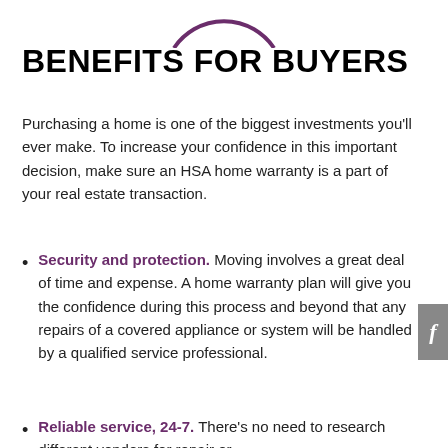[Figure (logo): Partial arc/circle logo at top center, purple outline]
BENEFITS FOR BUYERS
Purchasing a home is one of the biggest investments you'll ever make. To increase your confidence in this important decision, make sure an HSA home warranty is a part of your real estate transaction.
Security and protection. Moving involves a great deal of time and expense. A home warranty plan will give you the confidence during this process and beyond that any repairs of a covered appliance or system will be handled by a qualified service professional.
Reliable service, 24-7. There's no need to research different vendors for repair or